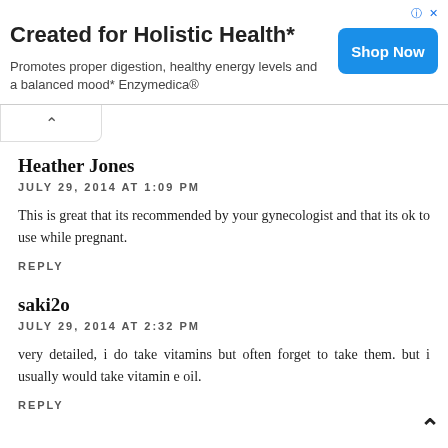[Figure (screenshot): Advertisement banner: 'Created for Holistic Health*' with subtitle 'Promotes proper digestion, healthy energy levels and a balanced mood* Enzymedica®' and a blue 'Shop Now' button]
Heather Jones
JULY 29, 2014 AT 1:09 PM
This is great that its recommended by your gynecologist and that its ok to use while pregnant.
REPLY
saki2o
JULY 29, 2014 AT 2:32 PM
very detailed, i do take vitamins but often forget to take them. but i usually would take vitamin e oil.
REPLY